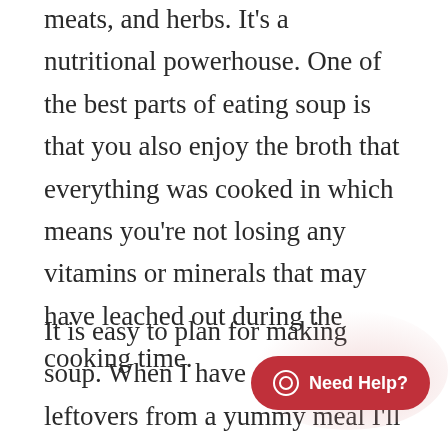meats, and herbs. It's a nutritional powerhouse. One of the best parts of eating soup is that you also enjoy the broth that everything was cooked in which means you're not losing any vitamins or minerals that may have leached out during the cooking time.
It is easy to plan for making soup. When I have a few leftovers from a yummy meal I'll store them in a freezer-safe plastic bag in the freezer. The next time I'm